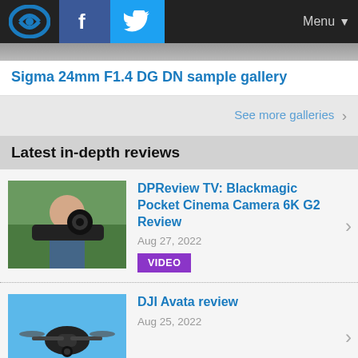DPReview logo, Facebook, Twitter, Menu
Sigma 24mm F1.4 DG DN sample gallery
See more galleries
Latest in-depth reviews
DPReview TV: Blackmagic Pocket Cinema Camera 6K G2 Review | Aug 27, 2022 | VIDEO
DJI Avata review | Aug 25, 2022
Fujifilm X-H2S review